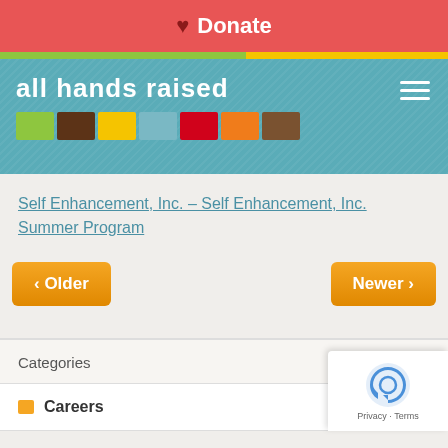♥ Donate
[Figure (logo): all hands raised logo with colored blocks]
Self Enhancement, Inc. – Self Enhancement, Inc. Summer Program
‹ Older
Newer ›
Categories
Careers